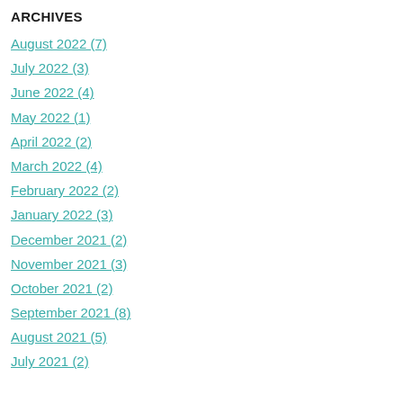ARCHIVES
August 2022 (7)
July 2022 (3)
June 2022 (4)
May 2022 (1)
April 2022 (2)
March 2022 (4)
February 2022 (2)
January 2022 (3)
December 2021 (2)
November 2021 (3)
October 2021 (2)
September 2021 (8)
August 2021 (5)
July 2021 (2)